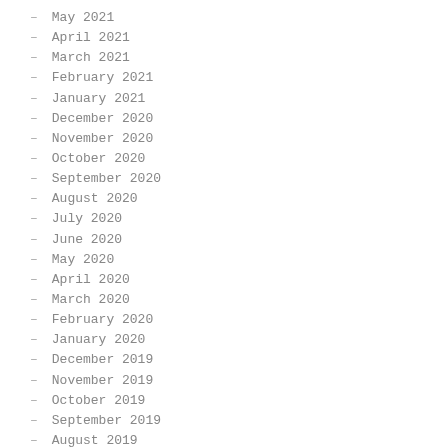– May 2021
– April 2021
– March 2021
– February 2021
– January 2021
– December 2020
– November 2020
– October 2020
– September 2020
– August 2020
– July 2020
– June 2020
– May 2020
– April 2020
– March 2020
– February 2020
– January 2020
– December 2019
– November 2019
– October 2019
– September 2019
– August 2019
– July 2019